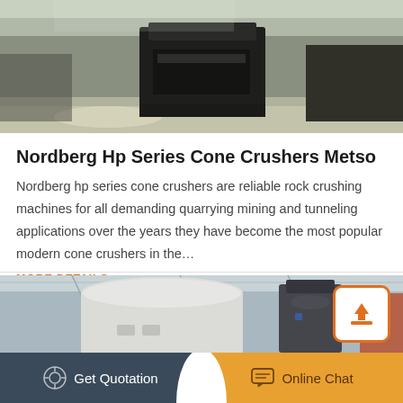[Figure (photo): Industrial cone crusher machine in a factory setting, viewed from below/side, dark equipment on concrete floor]
Nordberg Hp Series Cone Crushers Metso
Nordberg hp series cone crushers are reliable rock crushing machines for all demanding quarrying mining and tunneling applications over the years they have become the most popular modern cone crushers in the…
MORE DETAILS
[Figure (photo): Large white cone crusher machine in an industrial building with steel structure visible, alongside a dark cylindrical machine]
Get Quotation  Online Chat